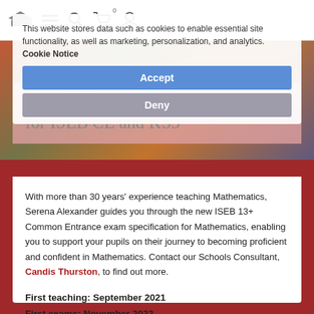Navigation bar with logo, menu, search, cart (0), and user icons
This website stores data such as cookies to enable essential site functionality, as well as marketing, personalization, and analytics. Cookie Notice
Accept
Deny
Common Entrance 13+ Mathematics for ISEB CE and KS3
With more than 30 years' experience teaching Mathematics, Serena Alexander guides you through the new ISEB 13+ Common Entrance exam specification for Mathematics, enabling you to support your pupils on their journey to becoming proficient and confident in Mathematics. Contact our Schools Consultant, Candis Thurston, to find out more.
First teaching: September 2021
First exams: November 2022